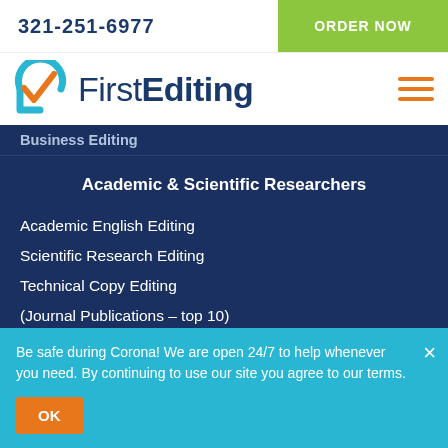321-251-6977
ORDER NOW
[Figure (logo): FirstEditing logo with blue circular checkmark icon and orange check, text reads First in regular weight and Editing in bold, dark navy color]
Business Editing
Academic & Scientific Researchers
Academic English Editing
Scientific Research Editing
Technical Copy Editing
(Journal Publications – top 10)
Universities & Institutions
Subject Matter Experts
Be safe during Corona! We are open 24/7 to help whenever you need. By continuing to use our site you agree to our terms.